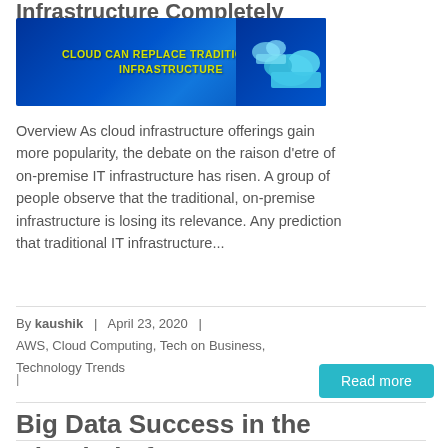Infrastructure Completely
[Figure (illustration): Blue digital background with cloud graphic and text: CLOUD CAN REPLACE TRADITIONAL IT INFRASTRUCTURE]
Overview As cloud infrastructure offerings gain more popularity, the debate on the raison d'etre of on-premise IT infrastructure has risen. A group of people observe that the traditional, on-premise infrastructure is losing its relevance. Any prediction that traditional IT infrastructure...
By kaushik  |  April 23, 2020  |
AWS, Cloud Computing, Tech on Business, Technology Trends
|
Read more
Big Data Success in the Cloud Platform